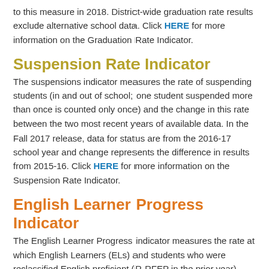to this measure in 2018. District-wide graduation rate results exclude alternative school data. Click HERE for more information on the Graduation Rate Indicator.
Suspension Rate Indicator
The suspensions indicator measures the rate of suspending students (in and out of school; one student suspended more than once is counted only once) and the change in this rate between the two most recent years of available data. In the Fall 2017 release, data for status are from the 2016-17 school year and change represents the difference in results from 2015-16. Click HERE for more information on the Suspension Rate Indicator.
English Learner Progress Indicator
The English Learner Progress indicator measures the rate at which English Learners (ELs) and students who were reclassified English proficient (R-RFEP in the prior year) make progress toward English Language proficiency. English Learners are included in the numerator for gaining at least one English Language Proficiency Assessment (CELDT or ELPAC) performance level, maintaining Early Advanced or